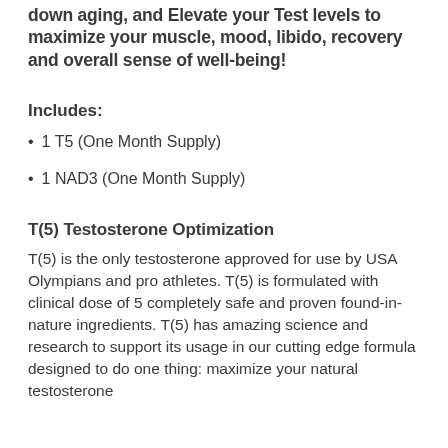down aging, and Elevate your Test levels to maximize your muscle, mood, libido, recovery and overall sense of well-being!
Includes:
1 T5 (One Month Supply)
1 NAD3 (One Month Supply)
T(5) Testosterone Optimization
T(5) is the only testosterone approved for use by USA Olympians and pro athletes. T(5) is formulated with clinical dose of 5 completely safe and proven found-in-nature ingredients. T(5) has amazing science and research to support its usage in our cutting edge formula designed to do one thing: maximize your natural testosterone